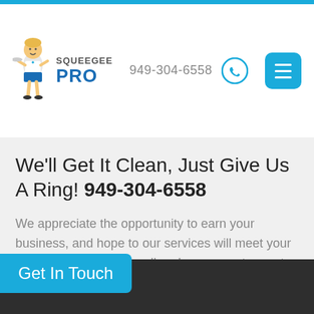949-304-6558 | Squeegee Pro logo | Menu
We'll Get It Clean, Just Give Us A Ring! 949-304-6558
We appreciate the opportunity to earn your business, and hope to our services will meet your needs. Just give us a call and we can get a quote going for you right over the phone!
CONTACT US
Get In Touch